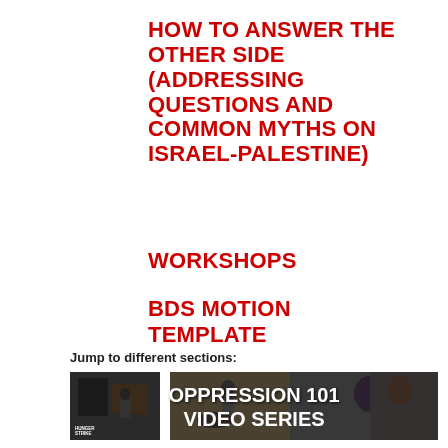HOW TO ANSWER THE OTHER SIDE (ADDRESSING QUESTIONS AND COMMON MYTHS ON ISRAEL-PALESTINE)
WORKSHOPS
BDS MOTION TEMPLATE
Jump to different sections:
[Figure (photo): Banner image with photographic collage background showing protest scenes and people, overlaid with white bold text reading 'OPPRESSION 101 VIDEO SERIES']